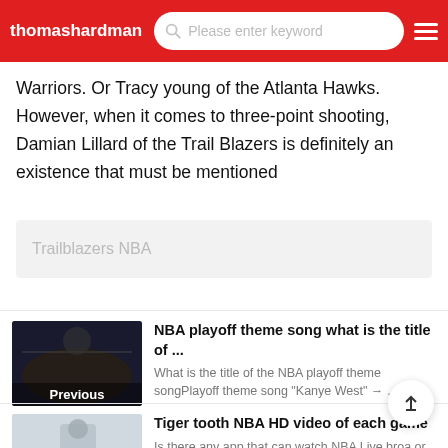thomashardman...  [search bar: Please enter keyword]  [menu icon]
Warriors. Or Tracy young of the Atlanta Hawks. However, when it comes to three-point shooting, Damian Lillard of the Trail Blazers is definitely an existence that must be mentioned
Trailblazers NBA
NBA playoff theme song what is the title of ...
What is the title of the NBA playoff theme songPlayoff theme song "Kanye West" → …
Tiger tooth NBA HD video of each game
Is there any app that can watch NBA Live broa or game video for freeBest as a hard core NBA…...